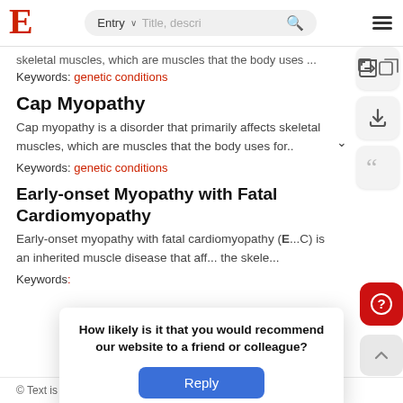E | Entry ▾ Title, descr… 🔍 ≡
skeletal muscles, which are muscles that the body uses ...
Keywords: genetic conditions
Cap Myopathy
Cap myopathy is a disorder that primarily affects skeletal muscles, which are muscles that the body uses for...
Keywords: genetic conditions
Early-onset Myopathy with Fatal Cardiomyopathy
Early-onset myopathy with fatal cardiomyopathy (E...C) is an inherited muscle disease that aff... the skele...
Keywords: ...
How likely is it that you would recommend our website to a friend or colleague? Reply
© Text is ... of the